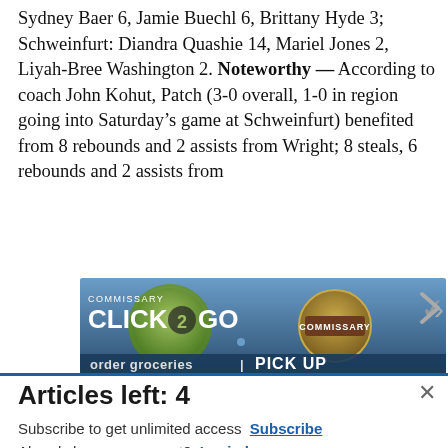Sydney Baer 6, Jamie Buechl 6, Brittany Hyde 3; Schweinfurt: Diandra Quashie 14, Mariel Jones 2, Liyah-Bree Washington 2. Noteworthy — According to coach John Kohut, Patch (3-0 overall, 1-0 in region going into Saturday's game at Schweinfurt) benefited from 8 rebounds and 2 assists from Wright; 8 steals, 6 rebounds and 2 assists from
[Figure (screenshot): Commissary Click2Go advertisement banner with logo and order groceries text]
Articles left: 4
Subscribe to get unlimited access  Subscribe
Already have an account?  Login here